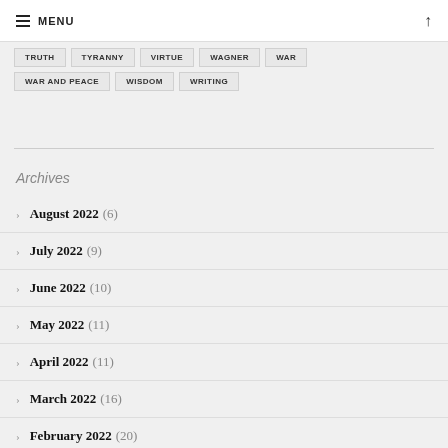MENU
TRUTH
TYRANNY
VIRTUE
WAGNER
WAR
WAR AND PEACE
WISDOM
WRITING
Archives
August 2022 (6)
July 2022 (9)
June 2022 (10)
May 2022 (11)
April 2022 (11)
March 2022 (16)
February 2022 (20)